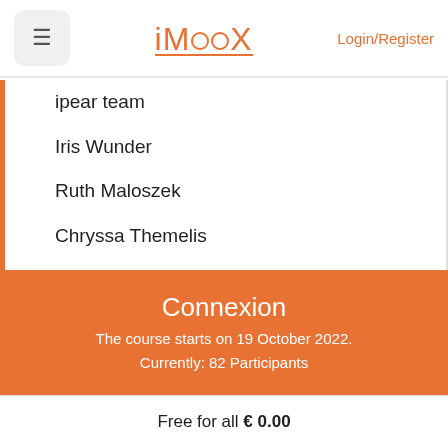iMooX Login/Register
ipear team
Iris Wunder
Ruth Maloszek
Chryssa Themelis
Ekaterina Prasolova-Forland
Mikhail Fominykh
Avgoustos Tsinakos
George Terzopoulos
Connexion
The course starts on 19 October 2022.
Currently: 82 Participants
Free for all € 0.00